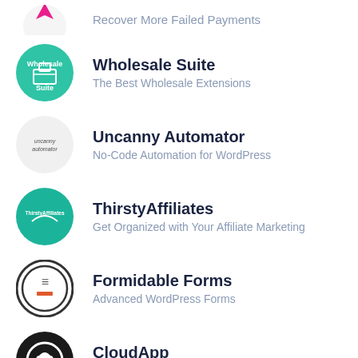Recover More Failed Payments
Wholesale Suite
The Best Wholesale Extensions
Uncanny Automator
No-Code Automation for WordPress
ThirstyAffiliates
Get Organized with Your Affiliate Marketing
Formidable Forms
Advanced WordPress Forms
CloudApp
Easy-To-Use Screen Recorder